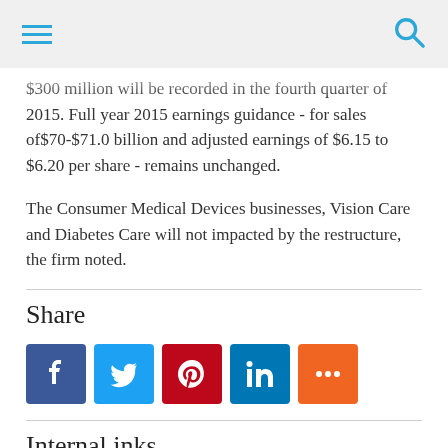[hamburger menu] [search icon]
$300 million will be recorded in the fourth quarter of 2015. Full year 2015 earnings guidance - for sales of$70-$71.0 billion and adjusted earnings of $6.15 to $6.20 per share - remains unchanged.
The Consumer Medical Devices businesses, Vision Care and Diabetes Care will not impacted by the restructure, the firm noted.
Share
[Figure (infographic): Social share buttons: Facebook (blue), Twitter (light blue), Pinterest (red), LinkedIn (dark blue), More (orange)]
Internal inks
J&J Q3 sales hit by strength of the dollar